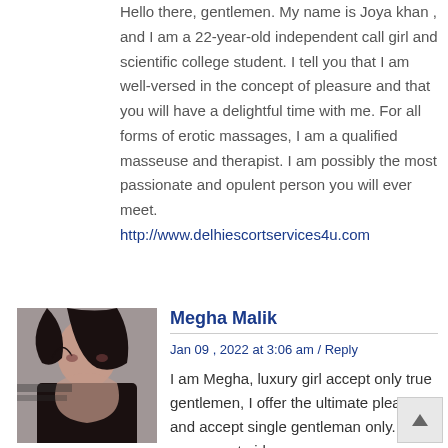Hello there, gentlemen. My name is Joya khan , and I am a 22-year-old independent call girl and scientific college student. I tell you that I am well-versed in the concept of pleasure and that you will have a delightful time with me. For all forms of erotic massages, I am a qualified masseuse and therapist. I am possibly the most passionate and opulent person you will ever meet. http://www.delhiescortservices4u.com
[Figure (photo): Avatar photo of Megha Malik, a young woman with dark hair wearing a dark outfit]
Megha Malik
Jan 09 , 2022 at 3:06 am / Reply
I am Megha, luxury girl accept only true gentlemen, I offer the ultimate pleasures and accept single gentleman only. I am very sweet girl